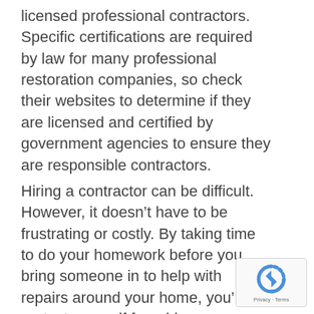licensed professional contractors. Specific certifications are required by law for many professional restoration companies, so check their websites to determine if they are licensed and certified by government agencies to ensure they are responsible contractors.
Hiring a contractor can be difficult. However, it doesn't have to be frustrating or costly. By taking time to do your homework before you bring someone in to help with repairs around your home, you'll protect yourself from bigger problems.
[Figure (logo): reCAPTCHA badge with Privacy and Terms links]